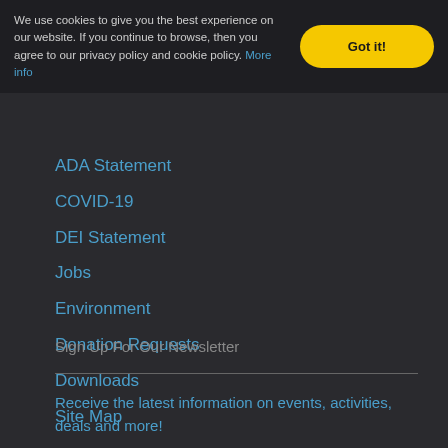We use cookies to give you the best experience on our website. If you continue to browse, then you agree to our privacy policy and cookie policy. More info
Got it!
ADA Statement
COVID-19
DEI Statement
Jobs
Environment
Donation Requests
Downloads
Site Map
Sign Up For Our Newsletter
Receive the latest information on events, activities, deals and more!